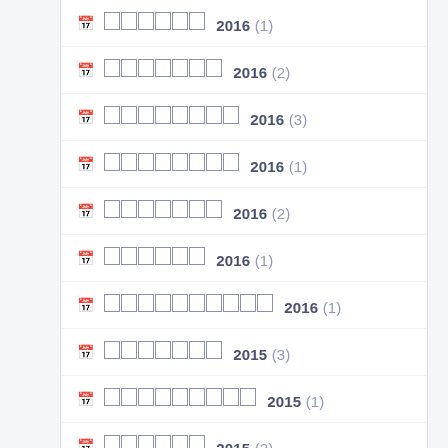██████ 2016 (1)
███████ 2016 (2)
████████ 2016 (3)
████████ 2016 (1)
███████ 2016 (2)
██████ 2016 (1)
██████████ 2016 (1)
███████ 2015 (3)
█████████ 2015 (1)
██████ 2015 (2)
███████ 2015 (3)
███████ 2015 (1)
███████ 2015 (2)